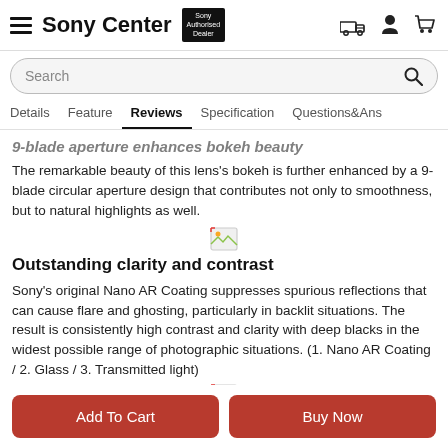Sony Center — Sony Authorised Dealer
Search
Details  Feature  Reviews  Specification  Questions&Ans
9-blade aperture enhances bokeh beauty
The remarkable beauty of this lens's bokeh is further enhanced by a 9-blade circular aperture design that contributes not only to smoothness, but to natural highlights as well.
[Figure (illustration): Small broken image placeholder icon]
Outstanding clarity and contrast
Sony's original Nano AR Coating suppresses spurious reflections that can cause flare and ghosting, particularly in backlit situations. The result is consistently high contrast and clarity with deep blacks in the widest possible range of photographic situations. (1. Nano AR Coating / 2. Glass / 3. Transmitted light)
[Figure (illustration): Small broken image placeholder icon]
Versatile fingertip focus control
Add To Cart
Buy Now